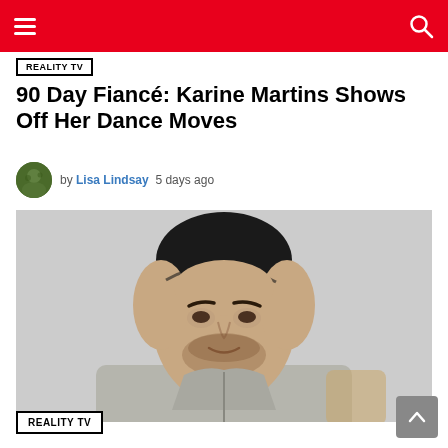Navigation header bar with menu and search icons
REALITY TV
90 Day Fiancé: Karine Martins Shows Off Her Dance Moves
by Lisa Lindsay  5 days ago
[Figure (photo): Photo of a young man with dark hair in a grey hoodie, smiling slightly, seated against a light grey/white wall]
REALITY TV